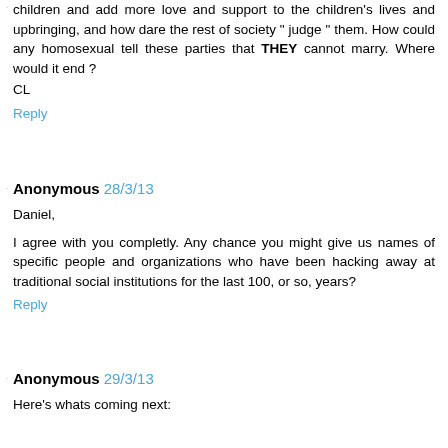children and add more love and support to the children's lives and upbringing, and how dare the rest of society " judge " them. How could any homosexual tell these parties that THEY cannot marry. Where would it end ?
CL
Reply
Anonymous 28/3/13
Daniel,
I agree with you completly. Any chance you might give us names of specific people and organizations who have been hacking away at traditional social institutions for the last 100, or so, years?
Reply
Anonymous 29/3/13
Here's whats coming next: